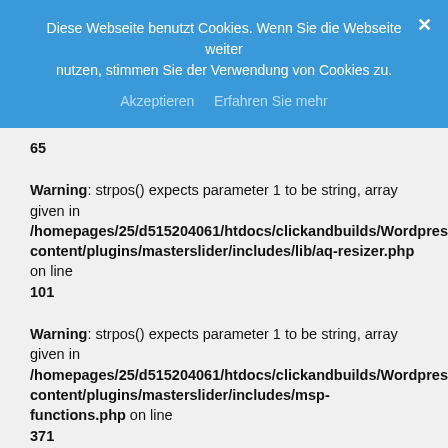Diese Webseite benutzt Cookies. Wenn Sie die Webseite weiter nutzen, stimmen Sie der Verwendung von Cookies zu. Akzeptieren  Erfahren Sie mehr
65
Warning: strpos() expects parameter 1 to be string, array given in /homepages/25/d515204061/htdocs/clickandbuilds/WordpressKidsSocc content/plugins/masterslider/includes/lib/aq-resizer.php on line 101
Warning: strpos() expects parameter 1 to be string, array given in /homepages/25/d515204061/htdocs/clickandbuilds/WordpressKidsSocc content/plugins/masterslider/includes/msp-functions.php on line 371
Warning: strncmp() expects parameter 1 to be string, array given in /homepages/25/d515204061/htdocs/clickandbuilds/WordpressKidsSocc content/plugins/masterslider/includes/lib/aq-resizer.php on line